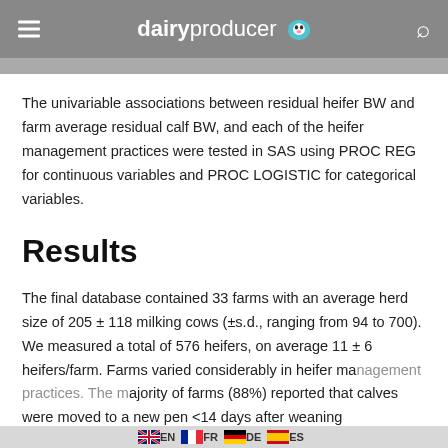dairyproducer
The univariable associations between residual heifer BW and farm average residual calf BW, and each of the heifer management practices were tested in SAS using PROC REG for continuous variables and PROC LOGISTIC for categorical variables.
Results
The final database contained 33 farms with an average herd size of 205 ± 118 milking cows (±s.d., ranging from 94 to 700). We measured a total of 576 heifers, on average 11 ± 6 heifers/farm. Farms varied considerably in heifer management practices. The majority of farms (88%) reported that calves were moved to a new pen <14 days after weaning